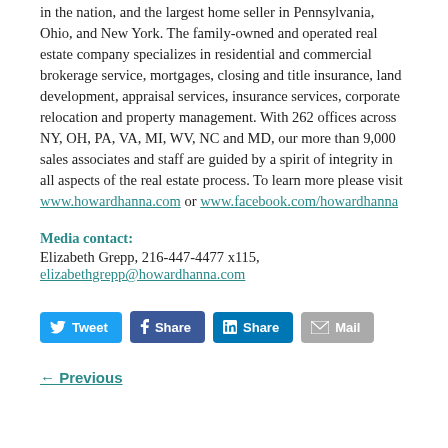in the nation, and the largest home seller in Pennsylvania, Ohio, and New York. The family-owned and operated real estate company specializes in residential and commercial brokerage service, mortgages, closing and title insurance, land development, appraisal services, insurance services, corporate relocation and property management. With 262 offices across NY, OH, PA, VA, MI, WV, NC and MD, our more than 9,000 sales associates and staff are guided by a spirit of integrity in all aspects of the real estate process. To learn more please visit www.howardhanna.com or www.facebook.com/howardhanna
Media contact: Elizabeth Grepp, 216-447-4477 x115, elizabethgrepp@howardhanna.com
[Figure (other): Social sharing buttons: Tweet (Twitter), Share (Facebook), Share (LinkedIn), Mail]
← Previous